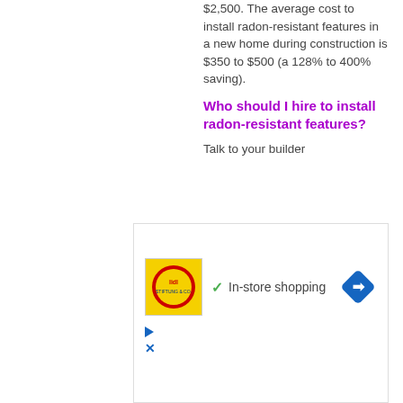$2,500. The average cost to install radon-resistant features in a new home during construction is $350 to $500 (a 128% to 400% saving).
Who should I hire to install radon-resistant features?
Talk to your builder
[Figure (infographic): Lidl advertisement banner with store logo, checkmark icon, 'In-store shopping' text, blue diamond navigation icon, play button, and close button controls.]